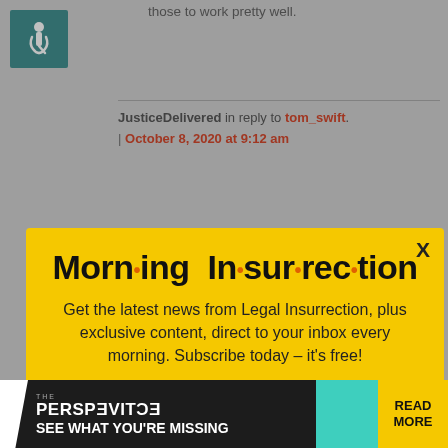[Figure (screenshot): Accessibility wheelchair icon in teal square]
those to work pretty well.
JusticeDelivered in reply to tom_swift. | October 8, 2020 at 9:12 am
[Figure (infographic): Morning Insurrection popup modal on yellow background with title 'Morn·ing In·sur·rec·tion', body text 'Get the latest news from Legal Insurrection, plus exclusive content, direct to your inbox every morning. Subscribe today – it's free!' and an orange JOIN NOW button]
challenging t... agenda, so m... so that most ...nment sections are top
[Figure (screenshot): The Perspective advertisement banner: SEE WHAT YOU'RE MISSING - READ MORE]